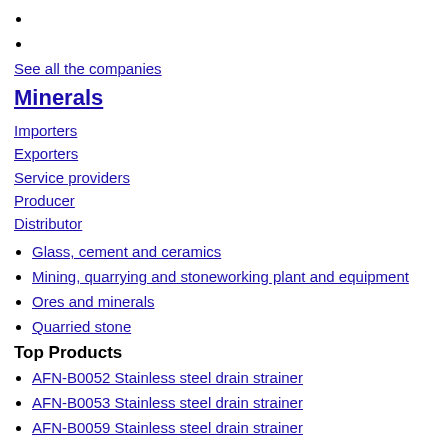See all the companies
Minerals
Importers
Exporters
Service providers
Producer
Distributor
Glass, cement and ceramics
Mining, quarrying and stoneworking plant and equipment
Ores and minerals
Quarried stone
Top Products
AFN-B0052 Stainless steel drain strainer
AFN-B0053 Stainless steel drain strainer
AFN-B0059 Stainless steel drain strainer